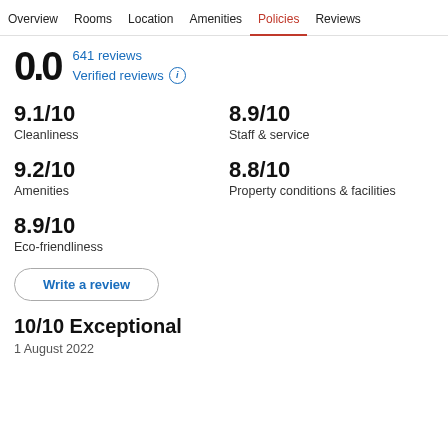Overview  Rooms  Location  Amenities  Policies  Reviews
0.0   641 reviews   Verified reviews
9.1/10
Cleanliness
8.9/10
Staff & service
9.2/10
Amenities
8.8/10
Property conditions & facilities
8.9/10
Eco-friendliness
Write a review
10/10 Exceptional
1 August 2022